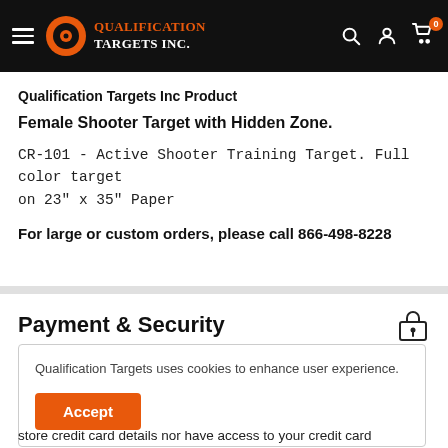Qualification Targets Inc.
Qualification Targets Inc Product
Female Shooter Target with Hidden Zone.
CR-101 - Active Shooter Training Target. Full color target on 23" x 35" Paper
For large or custom orders, please call 866-498-8228
Payment & Security
Qualification Targets uses cookies to enhance user experience.
store credit card details nor have access to your credit card